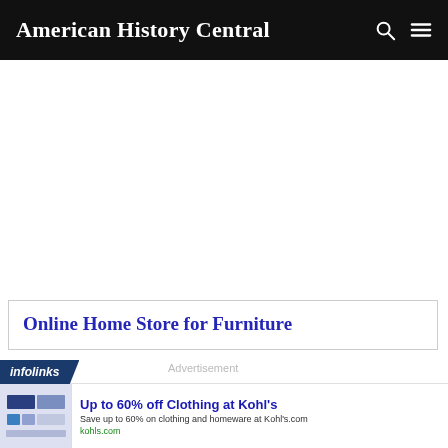American History Central
[Figure (screenshot): White space area, likely an advertisement placeholder]
Online Home Store for Furniture
[Figure (screenshot): Infolinks advertisement bar with text: Up to 60% off Clothing at Kohl's. Save up to 60% on clothing and homeware at Kohl's.com. kohls.com]
Advertisement